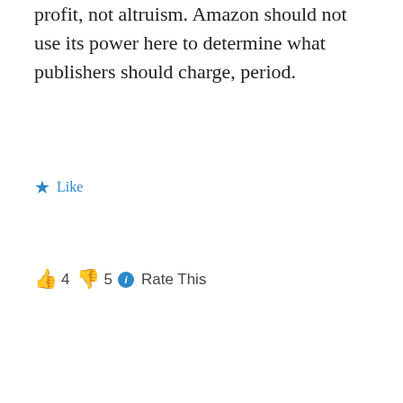profit, not altruism. Amazon should not use its power here to determine what publishers should charge, period.
★ Like
👍 4 👎 5 ℹ Rate This
Reply
damiengwalter
August 9, 2014 at 2:14 pm
And why do Amazon have that sway? Because while publishers ignored ebooks for over a decade, Amazon made all the investment to